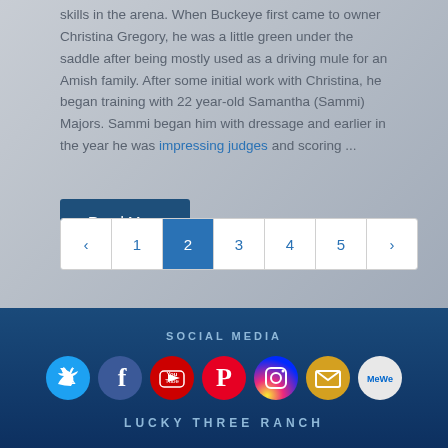skills in the arena. When Buckeye first came to owner Christina Gregory, he was a little green under the saddle after being mostly used as a driving mule for an Amish family. After some initial work with Christina, he began training with 22 year-old Samantha (Sammi) Majors. Sammi began him with dressage and earlier in the year he was impressing judges and scoring ...
Read More
« 1 2 3 4 5 »
SOCIAL MEDIA
[Figure (infographic): Social media icons row: Twitter (blue circle), Facebook (dark blue circle), YouTube (red circle), Pinterest (red circle), Instagram (gradient circle), Email (gold circle), MeWe (light circle)]
LUCKY THREE RANCH